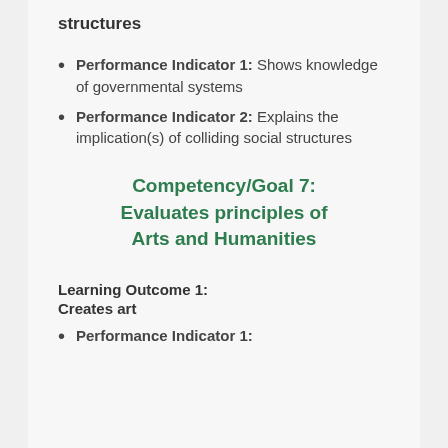structures
Performance Indicator 1: Shows knowledge of governmental systems
Performance Indicator 2: Explains the implication(s) of colliding social structures
Competency/Goal 7: Evaluates principles of Arts and Humanities
Learning Outcome 1:
Creates art
Performance Indicator 1: